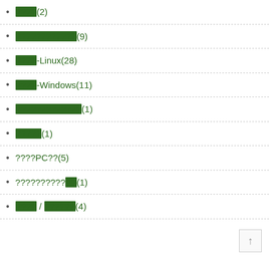????(2)
????????????(9)
????-Linux(28)
????-Windows(11)
?????????????(1)
?????(1)
????PC??(5)
???????????(1)
???? / ??????(4)